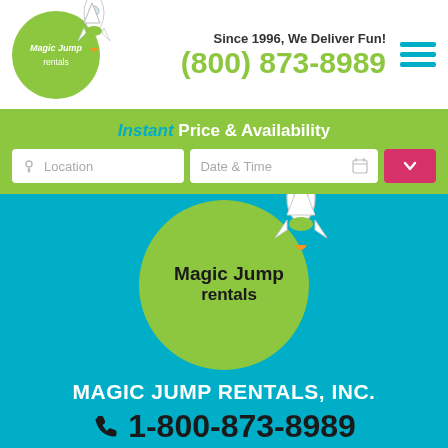[Figure (logo): Magic Jump Rentals logo with rocket ship in green circle, top left header]
Since 1996, We Deliver Fun! (800) 873-8989
Instant Price & Availability
Location
Date & Time
[Figure (logo): Magic Jump Rentals large logo in green circle with rocket on teal background]
MAGIC JUMP RENTALS, INC.
1-800-873-8989
info@magicjumprentals.com
[Figure (infographic): Social media icons row: Facebook, Twitter, YouTube, Instagram. Offline chat bubble bottom right.]